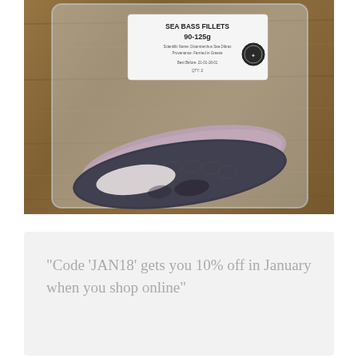[Figure (photo): Vacuum-sealed package of sea bass fillets (90-125g) on a wooden surface. The package label reads 'SEA BASS FILLETS 90-125g' with additional product details. Two dark-skinned sea bass fillets are visible through the clear plastic packaging.]
"Code 'JAN18' gets you 10% off in January when you shop online"